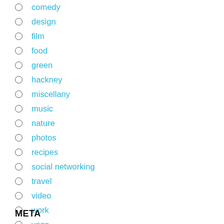comedy
design
film
food
green
hackney
miscellany
music
nature
photos
recipes
social networking
travel
video
work
yoga
META